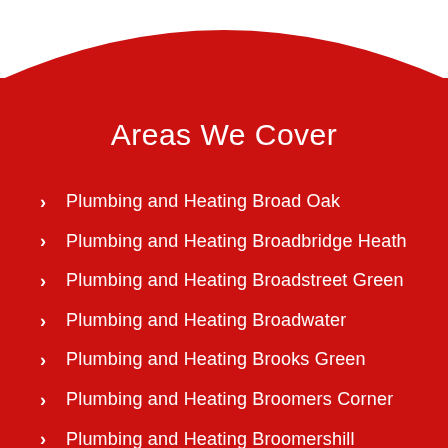Areas We Cover
Plumbing and Heating Broad Oak
Plumbing and Heating Broadbridge Heath
Plumbing and Heating Broadstreet Green
Plumbing and Heating Broadwater
Plumbing and Heating Brooks Green
Plumbing and Heating Broomers Corner
Plumbing and Heating Broomershill
Plumbing and Heating Broomham
Plumbing and Heating Broyle Side